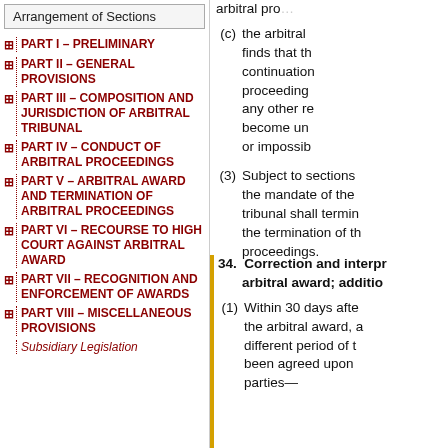Arrangement of Sections
PART I – PRELIMINARY
PART II – GENERAL PROVISIONS
PART III – COMPOSITION AND JURISDICTION OF ARBITRAL TRIBUNAL
PART IV – CONDUCT OF ARBITRAL PROCEEDINGS
PART V – ARBITRAL AWARD AND TERMINATION OF ARBITRAL PROCEEDINGS
PART VI – RECOURSE TO HIGH COURT AGAINST ARBITRAL AWARD
PART VII – RECOGNITION AND ENFORCEMENT OF AWARDS
PART VIII – MISCELLANEOUS PROVISIONS
Subsidiary Legislation
arbitral pro...
(c) the arbitral finds that the continuation proceeding any other re become un or impossib
(3) Subject to sections the mandate of the tribunal shall termin the termination of th proceedings.
34. Correction and interpr arbitral award; additio
(1) Within 30 days afte the arbitral award, a different period of t been agreed upon parties—